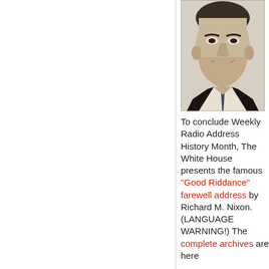[Figure (photo): Black and white portrait photo of Richard M. Nixon, head and shoulders, wearing a suit and tie]
To conclude Weekly Radio Address History Month, The White House presents the famous "Good Riddance" farewell address by Richard M. Nixon. (LANGUAGE WARNING!) The complete archives are here